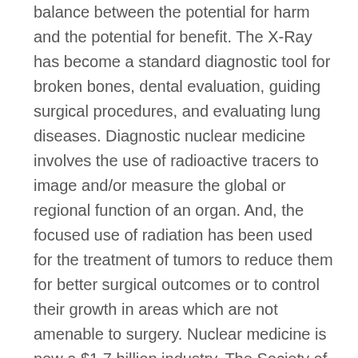balance between the potential for harm and the potential for benefit. The X-Ray has become a standard diagnostic tool for broken bones, dental evaluation, guiding surgical procedures, and evaluating lung diseases. Diagnostic nuclear medicine involves the use of radioactive tracers to image and/or measure the global or regional function of an organ. And, the focused use of radiation has been used for the treatment of tumors to reduce them for better surgical outcomes or to control their growth in areas which are not amenable to surgery. Nuclear medicine is now a $1.7 billion industry. The Society of Nuclear Medicine estimates that 20 million nuclear medicine procedures are performed annually in the United States of which 12 million are procedures approved for and reimbursed by the Center for Medicare and Medicaid Services.[12]  Nuclear medicine has advanced on many fronts, and in this field, the vision of Marie Curie for beneficial uses of radiation sees fulfillment...